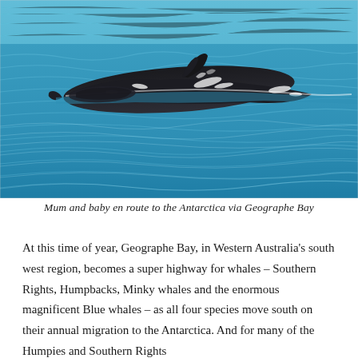[Figure (photo): A humpback whale and calf swimming at the ocean surface, showing the whale's dark back and dorsal fin above blue water with ripples and splashes around them.]
Mum and baby en route to theAntarctica via Geographe Bay
At this time of year, Geographe Bay, in Western Australia's south west region, becomes a super highway for whales – Southern Rights, Humpbacks, Minky whales and the enormous magnificent Blue whales – as all four species move south on their annual migration to the Antarctica. And for many of the Humpies and Southern Rights